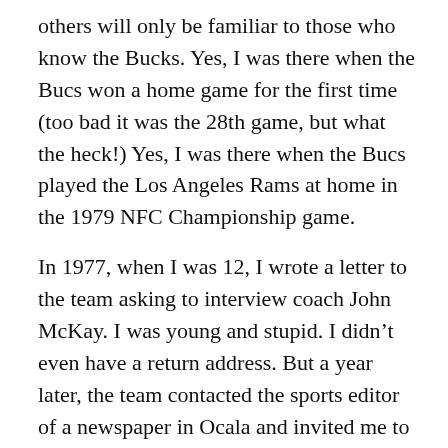others will only be familiar to those who know the Bucks. Yes, I was there when the Bucs won a home game for the first time (too bad it was the 28th game, but what the heck!) Yes, I was there when the Bucs played the Los Angeles Rams at home in the 1979 NFC Championship game.
In 1977, when I was 12, I wrote a letter to the team asking to interview coach John McKay. I was young and stupid. I didn't even have a return address. But a year later, the team contacted the sports editor of a newspaper in Ocala and invited me to come to practice and